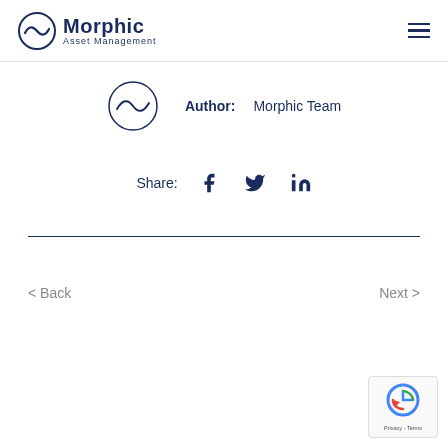[Figure (logo): Morphic Asset Management logo with circular wave icon and text]
Author:    Morphic Team
Share:  [Facebook] [Twitter] [LinkedIn]
< Back
Next >
[Figure (other): reCAPTCHA badge with Privacy - Terms text]